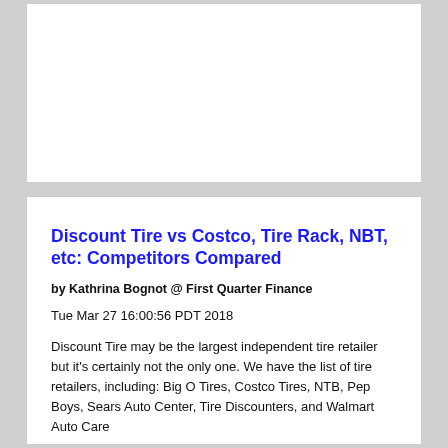Discount Tire vs Costco, Tire Rack, NBT, etc: Competitors Compared
by Kathrina Bognot @ First Quarter Finance
Tue Mar 27 16:00:56 PDT 2018
Discount Tire may be the largest independent tire retailer but it’s certainly not the only one. We have the list of tire retailers, including: Big O Tires, Costco Tires, NTB, Pep Boys, Sears Auto Center, Tire Discounters, and Walmart Auto Care Center. We’re about to break down how these